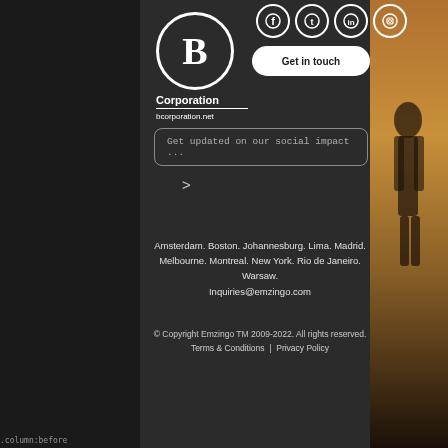[Figure (logo): Certified B Corporation logo — circle with letter B, label 'Corporation', url 'bcorporation.net']
[Figure (infographic): Social media icons row: Facebook, Twitter, LinkedIn, Instagram — white outlined circles on dark background]
Get in touch
Get updated on our social impact ...
>
Amsterdam. Boston. Johannesburg. Lima. Madrid. Melbourne. Montreal. New York. Rio de Janeiro. Warsaw.
Inquiries@emzingo.com
© Copyright Emzingo TM 2009-2022. All rights reserved. Terms & Conditions  |  Privacy Policy
.column:before